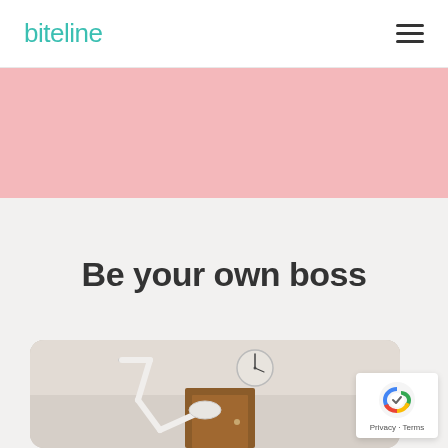biteline
[Figure (other): Pink banner background area]
Be your own boss
[Figure (photo): Interior room photo showing a dental/medical lamp arm, a wall clock, and wooden door — partially cropped at bottom of page]
[Figure (other): reCAPTCHA badge with Google logo and Privacy - Terms text]